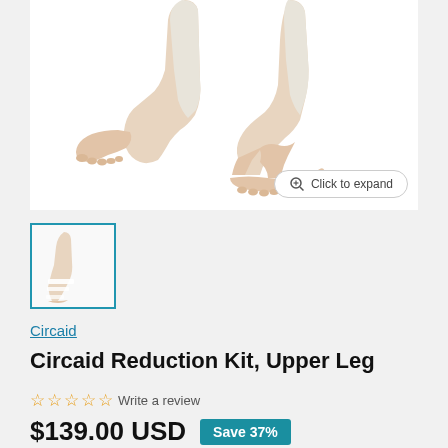[Figure (photo): Close-up photo of two bare feet and lower legs, one wearing a white compression stocking on the upper leg/calf area. White background. Product display image for Circaid Reduction Kit.]
[Figure (photo): Small thumbnail image of a leg with compression bandage/stocking, showing the Circaid Reduction Kit product.]
Circaid
Circaid Reduction Kit, Upper Leg
☆☆☆☆☆ Write a review
$139.00 USD  Save 37%